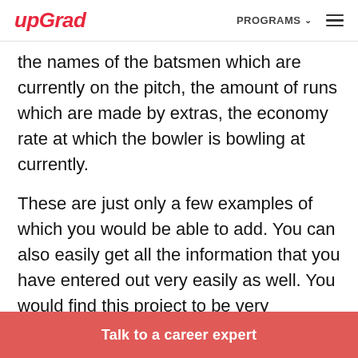upGrad | PROGRAMS
the names of the batsmen which are currently on the pitch, the amount of runs which are made by extras, the economy rate at which the bowler is bowling at currently.
These are just only a few examples of which you would be able to add. You can also easily get all the information that you have entered out very easily as well. You would find this project to be very interesting if you happen to like cricket.
Talk to a career expert